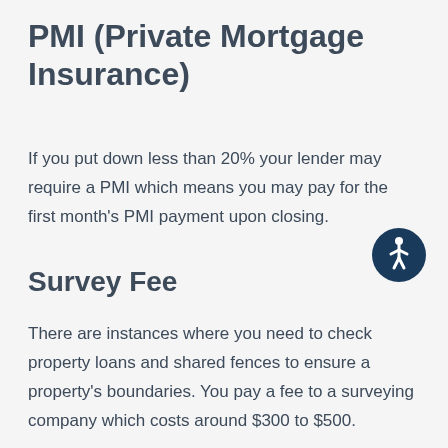PMI (Private Mortgage Insurance)
If you put down less than 20% your lender may require a PMI which means you may pay for the first month's PMI payment upon closing.
[Figure (illustration): Accessibility icon: a circular dark navy badge with a white stylized human figure (wheelchair accessibility symbol)]
Survey Fee
There are instances where you need to check property loans and shared fences to ensure a property's boundaries. You pay a fee to a surveying company which costs around $300 to $500.